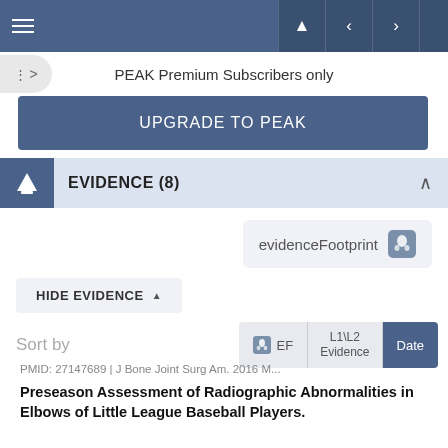PEAK Premium Subscribers only
UPGRADE TO PEAK
EVIDENCE (8)
evidenceFootprint
HIDE EVIDENCE
Sort by    EF    L1\L2 Evidence    Date
PMID: 27147689 | J Bone Joint Surg Am. 2016 M...
Preseason Assessment of Radiographic Abnormalities in Elbows of Little League Baseball Players.